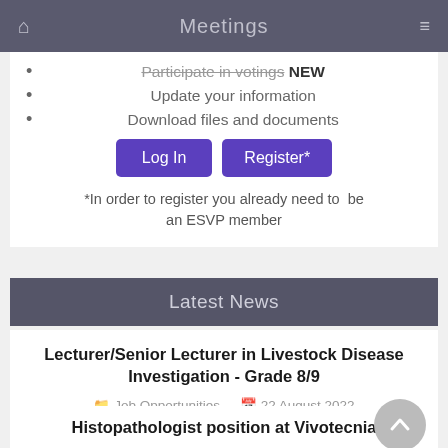Meetings
Participate in votings* NEW
Update your information
Download files and documents
Log In   Register*
*In order to register you already need to be an ESVP member
Latest News
Lecturer/Senior Lecturer in Livestock Disease Investigation - Grade 8/9
Job Opportunities   22 August 2022
Histopathologist position at Vivotecnia